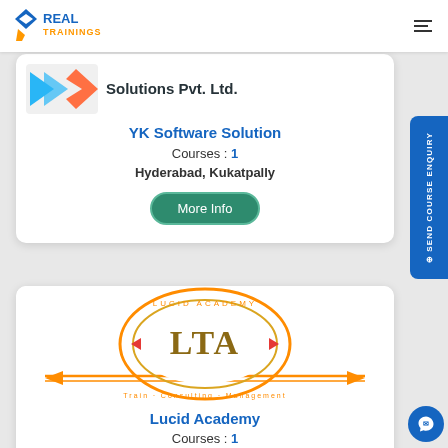REAL TRAININGS
[Figure (logo): YK Software Solutions logo with blue and orange chevron shapes]
Solutions Pvt. Ltd.
YK Software Solution
Courses : 1
Hyderabad, Kukatpally
More Info
[Figure (logo): Lucid Academy logo - circular orange and gold emblem with LTA initials]
Lucid Academy
Courses : 1
Leave a message